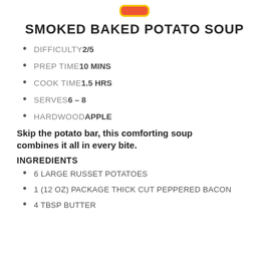SMOKED BAKED POTATO SOUP
DIFFICULTY 2/5
PREP TIME 10 MINS
COOK TIME 1.5 HRS
SERVES 6 – 8
HARDWOOD APPLE
Skip the potato bar, this comforting soup combines it all in every bite.
INGREDIENTS
6 LARGE RUSSET POTATOES
1 (12 OZ) PACKAGE THICK CUT PEPPERED BACON
4 TBSP BUTTER